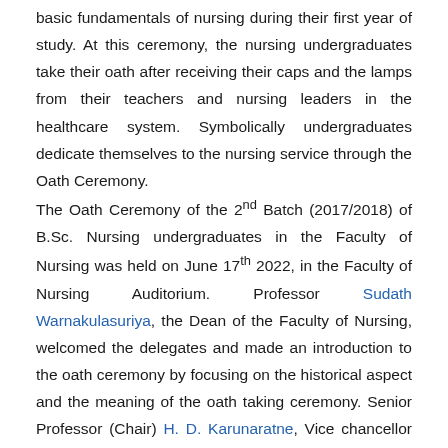basic fundamentals of nursing during their first year of study. At this ceremony, the nursing undergraduates take their oath after receiving their caps and the lamps from their teachers and nursing leaders in the healthcare system. Symbolically undergraduates dedicate themselves to the nursing service through the Oath Ceremony.
The Oath Ceremony of the 2nd Batch (2017/2018) of B.Sc. Nursing undergraduates in the Faculty of Nursing was held on June 17th 2022, in the Faculty of Nursing Auditorium. Professor Sudath Warnakulasuriya, the Dean of the Faculty of Nursing, welcomed the delegates and made an introduction to the oath ceremony by focusing on the historical aspect and the meaning of the oath taking ceremony. Senior Professor (Chair) H. D. Karunaratne, Vice chancellor of the University of Colombo, addressed the gathering as the Chief Guest by delivering an inspirational speech by highlighting five themes that need to be strengthened in order to be a successful